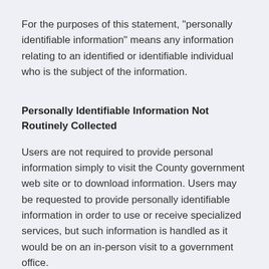For the purposes of this statement, "personally identifiable information" means any information relating to an identified or identifiable individual who is the subject of the information.
Personally Identifiable Information Not Routinely Collected
Users are not required to provide personal information simply to visit the County government web site or to download information. Users may be requested to provide personally identifiable information in order to use or receive specialized services, but such information is handled as it would be on an in-person visit to a government office.